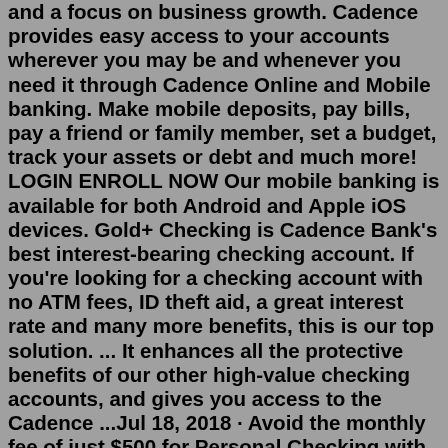and a focus on business growth. Cadence provides easy access to your accounts wherever you may be and whenever you need it through Cadence Online and Mobile banking. Make mobile deposits, pay bills, pay a friend or family member, set a budget, track your assets or debt and much more! LOGIN ENROLL NOW Our mobile banking is available for both Android and Apple iOS devices. Gold+ Checking is Cadence Bank's best interest-bearing checking account. If you're looking for a checking account with no ATM fees, ID theft aid, a great interest rate and many more benefits, this is our top solution. ... It enhances all the protective benefits of our other high-value checking accounts, and gives you access to the Cadence ...Jul 18, 2018 · Avoid the monthly fee of just $500 for Personal Checking with a $900 minimum daily balance or a $15,000 average monthly balance. You'll have our free Cadence Bank Check Card which is also your ATM Card. Overdraft Privilege available after qualifying period. Open your Personal Checking Account with a minimum opening deposit of $350 at